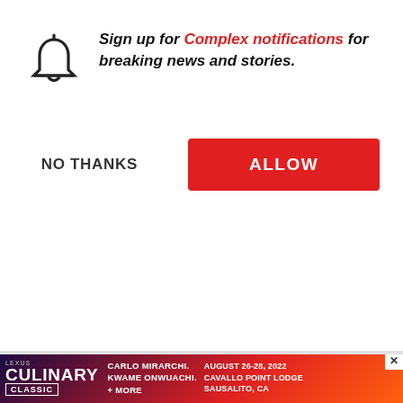Sign up for Complex notifications for breaking news and stories.
NO THANKS
ALLOW
Market shirt cover reached out to Che acquire the global
[Figure (screenshot): SNACKED video thumbnail showing three men with surprised expressions, surrounded by snack foods including Sour Patch Kids and Swedish Fish]
The Try Guys Break Down Their Favorite Snacks | Snacked
[Figure (screenshot): Audible Original James Patterson Daniel X Genesis advertisement]
[Figure (screenshot): Lexus Culinary Classic advertisement: Carlo Mirarchi. Kwame Onwuachi. + More. August 26-28, 2022. Cavallo Point Lodge, Sausalito, CA]